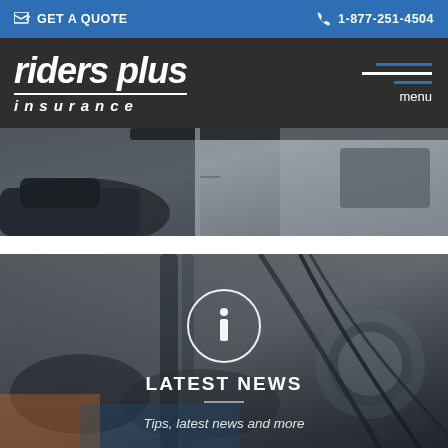GET A QUOTE  |  1-877-251-4504
[Figure (logo): Riders Plus Insurance logo in white italic text on dark background with hamburger menu icon]
[Figure (photo): Partial motorcycle dashboard/handlebars photo cropped at top]
[Figure (photo): Motorcycle scene with info icon circle overlay, LATEST NEWS heading and 'Tips, latest news and more' subtitle]